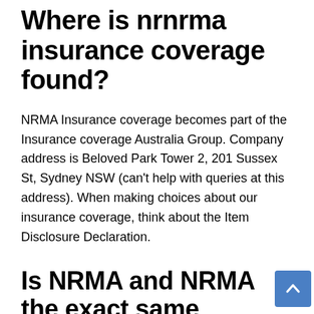Where is nrnrma insurance coverage found?
NRMA Insurance coverage becomes part of the Insurance coverage Australia Group. Company address is Beloved Park Tower 2, 201 Sussex St, Sydney NSW (can't help with queries at this address). When making choices about our insurance coverage, think about the Item Disclosure Declaration.
Is NRMA and NRMA the exact same business?